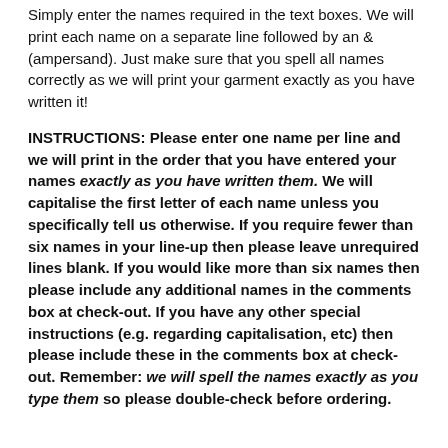Simply enter the names required in the text boxes. We will print each name on a separate line followed by an & (ampersand). Just make sure that you spell all names correctly as we will print your garment exactly as you have written it!
INSTRUCTIONS: Please enter one name per line and we will print in the order that you have entered your names exactly as you have written them. We will capitalise the first letter of each name unless you specifically tell us otherwise. If you require fewer than six names in your line-up then please leave unrequired lines blank. If you would like more than six names then please include any additional names in the comments box at check-out. If you have any other special instructions (e.g. regarding capitalisation, etc) then please include these in the comments box at check-out. Remember: we will spell the names exactly as you type them so please double-check before ordering.